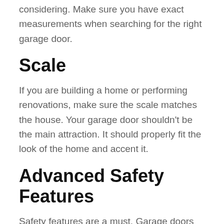considering. Make sure you have exact measurements when searching for the right garage door.
Scale
If you are building a home or performing renovations, make sure the scale matches the house. Your garage door shouldn't be the main attraction. It should properly fit the look of the home and accent it.
Advanced Safety Features
Safety features are a must. Garage doors can be dangerous. You'll want to ensure your garage door has sensing and tracking technology for